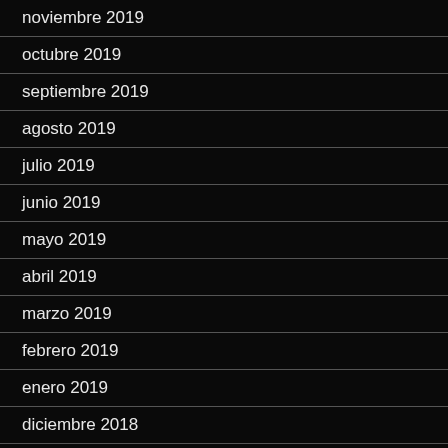noviembre 2019
octubre 2019
septiembre 2019
agosto 2019
julio 2019
junio 2019
mayo 2019
abril 2019
marzo 2019
febrero 2019
enero 2019
diciembre 2018
noviembre 2018